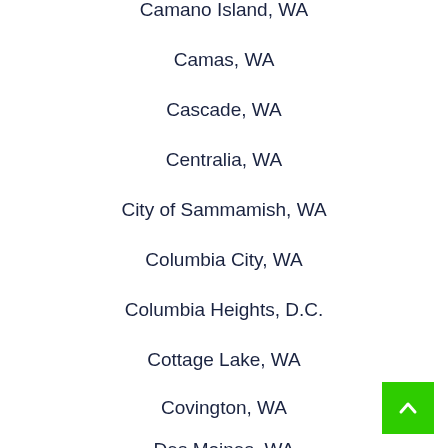Camano Island, WA
Camas, WA
Cascade, WA
Centralia, WA
City of Sammamish, WA
Columbia City, WA
Columbia Heights, D.C.
Cottage Lake, WA
Covington, WA
Des Moines, WA